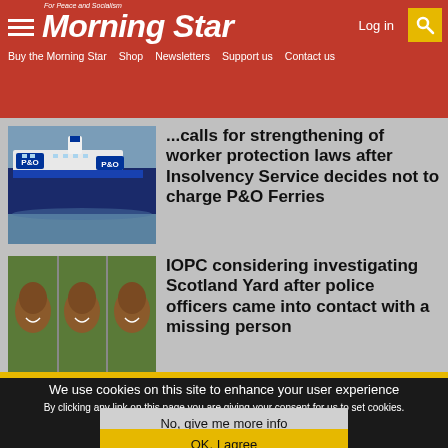Morning Star - For Peace and Socialism
Log in
Buy the Morning Star  Shop  Newsletters  Support us  Contact us
[Figure (photo): P&O Ferries ship on water]
...calls for strengthening of worker protection laws after Insolvency Service decides not to charge P&O Ferries
[Figure (photo): Three panel photo of a smiling woman outdoors]
IOPC considering investigating Scotland Yard after police officers came into contact with a missing person
We use cookies on this site to enhance your user experience
By clicking any link on this page you are giving your consent for us to set cookies.
No, give me more info
OK, I agree